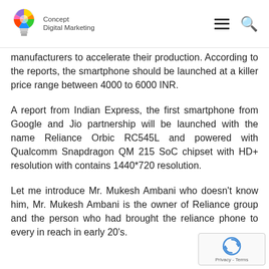Concept Digital Marketing
manufacturers to accelerate their production. According to the reports, the smartphone should be launched at a killer price range between 4000 to 6000 INR.
A report from Indian Express, the first smartphone from Google and Jio partnership will be launched with the name Reliance Orbic RC545L and powered with Qualcomm Snapdragon QM 215 SoC chipset with HD+ resolution with contains 1440*720 resolution.
Let me introduce Mr. Mukesh Ambani who doesn't know him, Mr. Mukesh Ambani is the owner of Reliance group and the person who had brought the reliance phone to every in reach in early 20's.